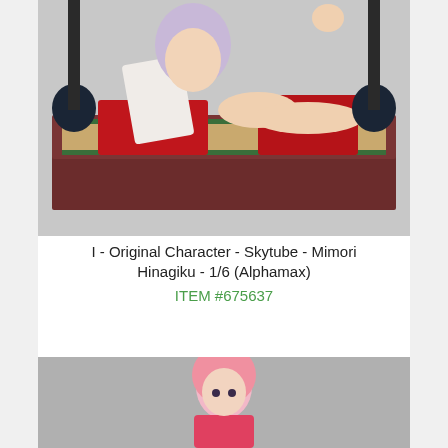[Figure (photo): Close-up photo of an anime figure of a girl in a red kimono/dress seated on a tatami mat platform with dark decorative weights at corners. Figure has light purple hair and pale skin.]
I - Original Character - Skytube - Mimori Hinagiku - 1/6 (Alphamax)
ITEM #675637
[Figure (photo): Partial photo of another anime figure with pink hair wearing pink/red outfit, visible from approximately the waist up, on a gray background.]